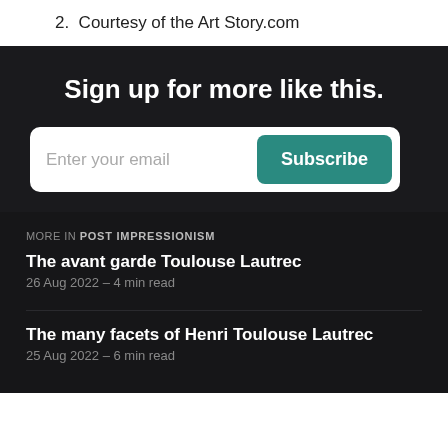2.  Courtesy of the Art Story.com
Sign up for more like this.
[Figure (other): Email subscription widget with text input 'Enter your email' and a teal 'Subscribe' button]
MORE IN POST IMPRESSIONISM
The avant garde Toulouse Lautrec
26 Aug 2022 – 4 min read
The many facets of Henri Toulouse Lautrec
25 Aug 2022 – 6 min read